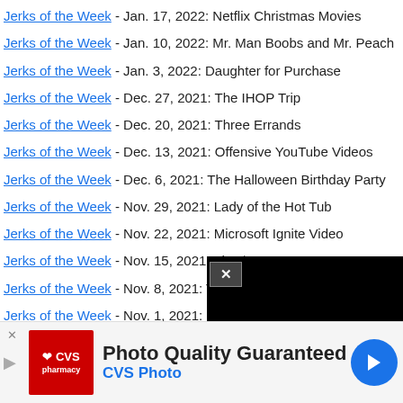Jerks of the Week - Jan. 17, 2022: Netflix Christmas Movies
Jerks of the Week - Jan. 10, 2022: Mr. Man Boobs and Mr. Peach
Jerks of the Week - Jan. 3, 2022: Daughter for Purchase
Jerks of the Week - Dec. 27, 2021: The IHOP Trip
Jerks of the Week - Dec. 20, 2021: Three Errands
Jerks of the Week - Dec. 13, 2021: Offensive YouTube Videos
Jerks of the Week - Dec. 6, 2021: The Halloween Birthday Party
Jerks of the Week - Nov. 29, 2021: Lady of the Hot Tub
Jerks of the Week - Nov. 22, 2021: Microsoft Ignite Video
Jerks of the Week - Nov. 15, 2021: The $300 Long Con
Jerks of the Week - Nov. 8, 2021: Th...
Jerks of the Week - Nov. 1, 2021: Sh...
Jerks of the Week - Oct. 25, 2021: Fr...
[Figure (screenshot): Video player overlay (black background) with close button (X) and loading spinner circle, plus an X dismiss button]
[Figure (screenshot): CVS Pharmacy advertisement banner: red CVS logo, 'Photo Quality Guaranteed' headline, 'CVS Photo' subtext, blue navigation arrow icon]